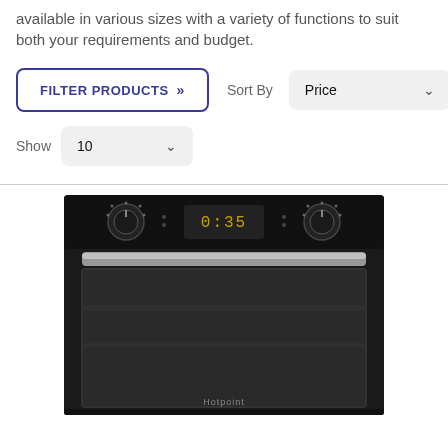available in various sizes with a variety of functions to suit both your requirements and budget.
FILTER PRODUCTS >> Sort By Price Show 10
[Figure (photo): Black Hotpoint built-in electric oven with digital clock display, two rotary knobs, silver handle, and dark glass door]